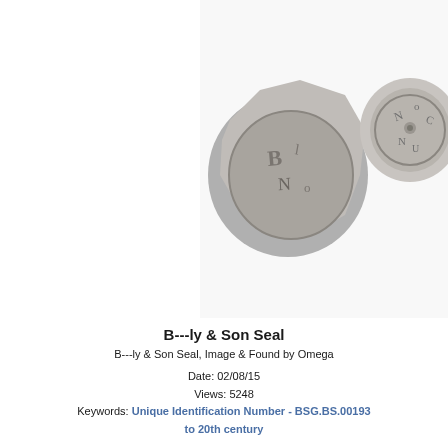[Figure (photo): Two ancient lead seals photographed side by side. The left seal is larger and roughly circular/polygonal, showing embossed lettering. The right seal is smaller with circular text border visible. Both appear worn and metallic grey.]
B---ly & Son Seal
B---ly & Son Seal, Image & Found by Omega
Date: 02/08/15
Views: 5248
Keywords: Unique Identification Number - BSG.BS.00193 to 20th century